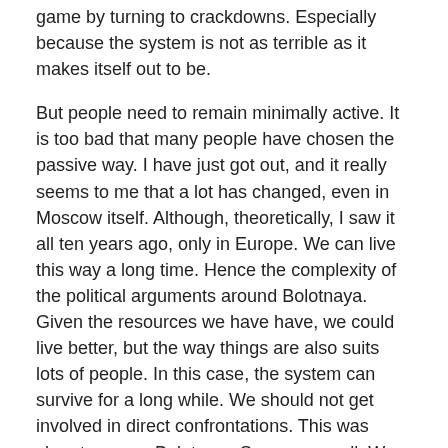game by turning to crackdowns. Especially because the system is not as terrible as it makes itself out to be.
But people need to remain minimally active. It is too bad that many people have chosen the passive way. I have just got out, and it really seems to me that a lot has changed, even in Moscow itself. Although, theoretically, I saw it all ten years ago, only in Europe. We can live this way a long time. Hence the complexity of the political arguments around Bolotnaya. Given the resources we have have, we could live better, but the way things are also suits lots of people. In this case, the system can survive for a long while. We should not get involved in direct confrontations. This was clear to me on Bolotnaya Square as well. We wanted to get the hell out of there, because it was obvious the sitdown strikes and so on were just what the authorities wanted. But there are other ways of doing things. We don't have to limit ourselves to demonstrations and rallies.